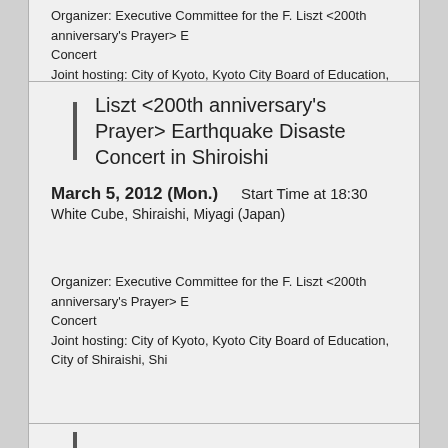Organizer: Executive Committee for the F. Liszt <200th anniversary's Prayer> E... Concert
Joint hosting: City of Kyoto, Kyoto City Board of Education, City of Shiraishi, Shi...
Liszt <200th anniversary's Prayer> Earthquake Disaster... Concert in Shiroishi
March 5, 2012 (Mon.)    Start Time at 18:30
White Cube, Shiraishi, Miyagi (Japan)
Organizer: Executive Committee for the F. Liszt <200th anniversary's Prayer> E... Concert
Joint hosting: City of Kyoto, Kyoto City Board of Education, City of Shiraishi, Shi...